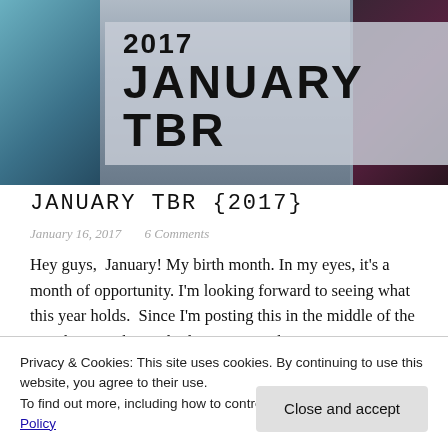[Figure (photo): Banner image showing book covers with overlaid title text '2017 JANUARY TBR' on a semi-transparent grey background]
JANUARY TBR {2017}
January 16, 2017   6 Comments
Hey guys,  January! My birth month. In my eyes, it's a month of opportunity. I'm looking forward to seeing what this year holds.  Since I'm posting this in the middle of the month, my to be read pile is going to be a
Privacy & Cookies: This site uses cookies. By continuing to use this website, you agree to their use.
To find out more, including how to control cookies, see here: Cookie Policy